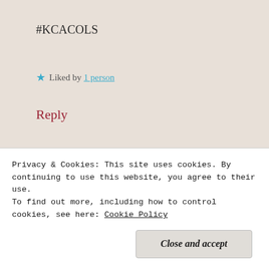#KCACOLS
★ Liked by 1 person
Reply
[Figure (photo): Avatar photo of sensationallearning blog user, showing a person outdoors among trees]
sensationallearning   April 16, 2018 at 10:05 pm
Thank you! It can be tricky sometimes, with Easter, Christmas...
Privacy & Cookies: This site uses cookies. By continuing to use this website, you agree to their use.
To find out more, including how to control cookies, see here: Cookie Policy
Close and accept